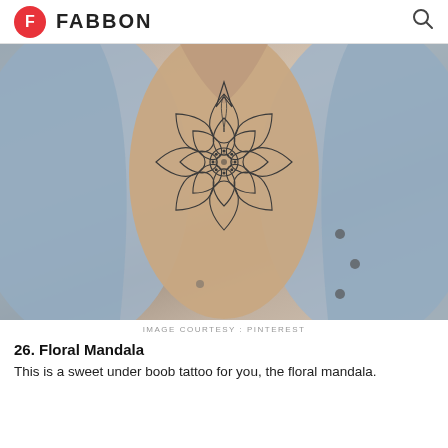FABBON
[Figure (photo): Close-up photo of a person wearing an open denim shirt, revealing an underboob floral mandala tattoo on their sternum. The tattoo is a detailed symmetrical floral/leaf mandala design in black ink.]
IMAGE COURTESY : PINTEREST
26. Floral Mandala
This is a sweet under boob tattoo for you, the floral mandala.